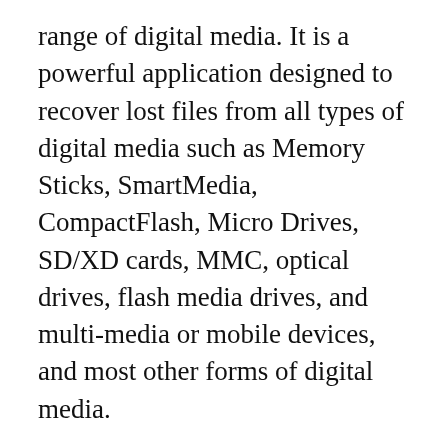range of digital media. It is a powerful application designed to recover lost files from all types of digital media such as Memory Sticks, SmartMedia, CompactFlash, Micro Drives, SD/XD cards, MMC, optical drives, flash media drives, and multi-media or mobile devices, and most other forms of digital media.
It allows users to recover images, video, and audio files that have been accidently lost.It can also recover personal and important documents, spreadsheets, text files and many other data files stored on the system.The program also supports to recover files